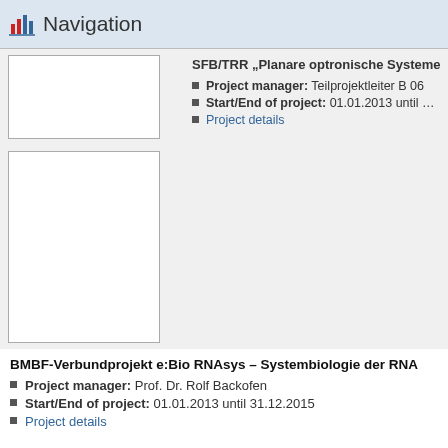Navigation
[Figure (other): Two white image placeholder boxes on the left panel]
SFB/TRR „Planare optronische Systeme
Project manager: Teilprojektleiter B 06
Start/End of project: 01.01.2013 until …
Project details
BMBF-Verbundprojekt e:Bio RNAsys – Systembiologie der RNA
Project manager: Prof. Dr. Rolf Backofen
Start/End of project: 01.01.2013 until 31.12.2015
Project details
BMBF-Verbundprojekt e:Bio ReelinSys – Systembiologie Reelin-ass…
Project manager: Prof. Dr. Rolf Backofen
Start/End of project: 01.01.2013 until 31.12.2015
Project details